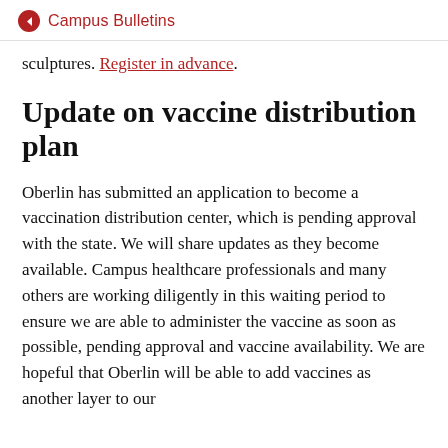Campus Bulletins
sculptures. Register in advance.
Update on vaccine distribution plan
Oberlin has submitted an application to become a vaccination distribution center, which is pending approval with the state. We will share updates as they become available. Campus healthcare professionals and many others are working diligently in this waiting period to ensure we are able to administer the vaccine as soon as possible, pending approval and vaccine availability. We are hopeful that Oberlin will be able to add vaccines as another layer to our